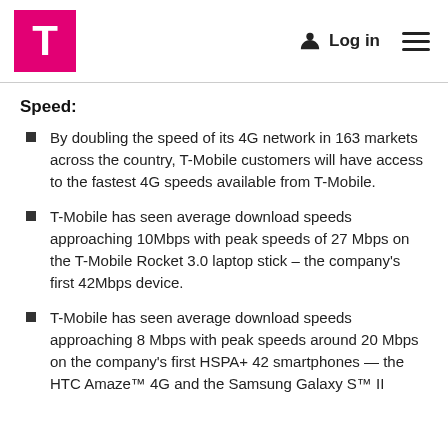T-Mobile | Log in
Speed:
By doubling the speed of its 4G network in 163 markets across the country, T-Mobile customers will have access to the fastest 4G speeds available from T-Mobile.
T-Mobile has seen average download speeds approaching 10Mbps with peak speeds of 27 Mbps on the T-Mobile Rocket 3.0 laptop stick – the company's first 42Mbps device.
T-Mobile has seen average download speeds approaching 8 Mbps with peak speeds around 20 Mbps on the company's first HSPA+ 42 smartphones — the HTC Amaze™ 4G and the Samsung Galaxy S™ II